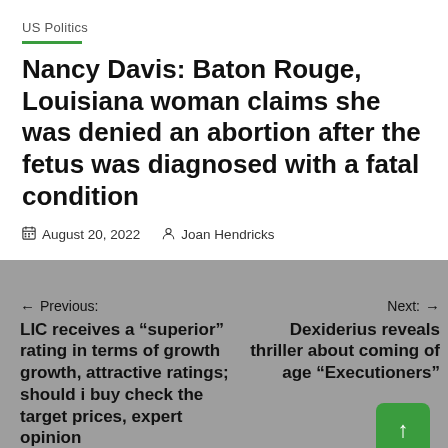US Politics
Nancy Davis: Baton Rouge, Louisiana woman claims she was denied an abortion after the fetus was diagnosed with a fatal condition
August 20, 2022  Joan Hendricks
← Previous:
LIC receives a “superior” rating in terms of growth growth, attractive ratings; should i buy check the target prices, expert opinion
Next: →
Dexiderius reveals thriller about coming of age “Executioners”